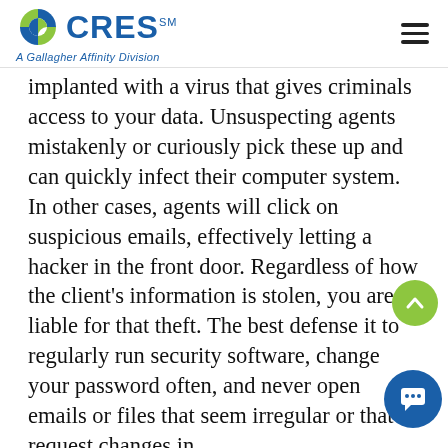CRES℠ – A Gallagher Affinity Division
implanted with a virus that gives criminals access to your data. Unsuspecting agents mistakenly or curiously pick these up and can quickly infect their computer system. In other cases, agents will click on suspicious emails, effectively letting a hacker in the front door. Regardless of how the client's information is stolen, you are liable for that theft. The best defense it to regularly run security software, change your password often, and never open emails or files that seem irregular or that request changes in